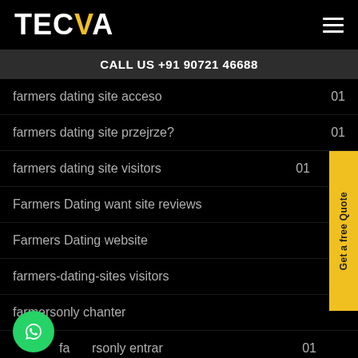TECVA
CALL US +91 90721 46688
farmers dating site acceso  01
farmers dating site przejrze?  01
farmers dating site visitors  01
Farmers Dating want site reviews
Farmers Dating website
farmers-dating-sites visitors
farmersonly chanter
farmersonly entrar  01
farmersonly Online Status  01
01